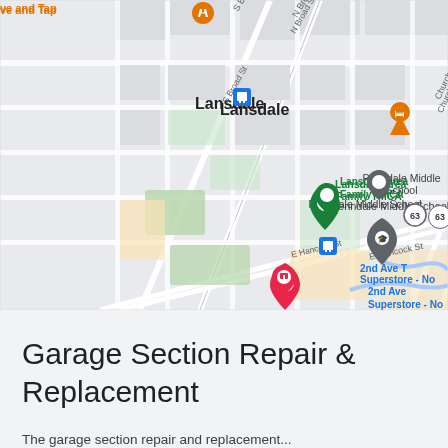[Figure (map): Google Maps screenshot showing Lansdale, PA area with landmarks including Lansdale Catholic High School, Penndale Middle School, Lansdale Area Family YMCA, Homewood Suites by Hilton Lansdale, and 2nd Ave Superstore. Shows street grid with roads including N Broad St, S Broad St, Church Rd, E Hancock St. Bus stop icons visible. Route 63 marked.]
Garage Section Repair & Replacement
The garage section repair and replacement...